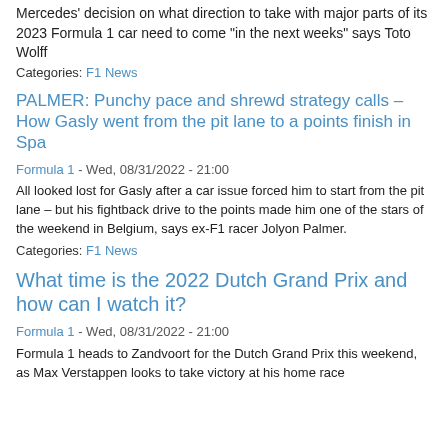Mercedes' decision on what direction to take with major parts of its 2023 Formula 1 car need to come "in the next weeks" says Toto Wolff
Categories: F1 News
PALMER: Punchy pace and shrewd strategy calls – How Gasly went from the pit lane to a points finish in Spa
Formula 1 - Wed, 08/31/2022 - 21:00
All looked lost for Gasly after a car issue forced him to start from the pit lane – but his fightback drive to the points made him one of the stars of the weekend in Belgium, says ex-F1 racer Jolyon Palmer.
Categories: F1 News
What time is the 2022 Dutch Grand Prix and how can I watch it?
Formula 1 - Wed, 08/31/2022 - 21:00
Formula 1 heads to Zandvoort for the Dutch Grand Prix this weekend, as Max Verstappen looks to take victory at his home race